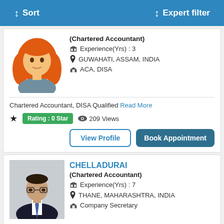Sort   Expert filter
(Chartered Accountant)
Experience(Yrs) : 3
GUWAHATI, ASSAM, INDIA
ACA, DISA
Chartered Accountant, DISA Qualified Read More
Rating : 0 Star   209 Views
View Profile   Book Appointment
CHELLADURAI
(Chartered Accountant)
Experience(Yrs) : 7
THANE, MAHARASHTRA, INDIA
Company Secretary